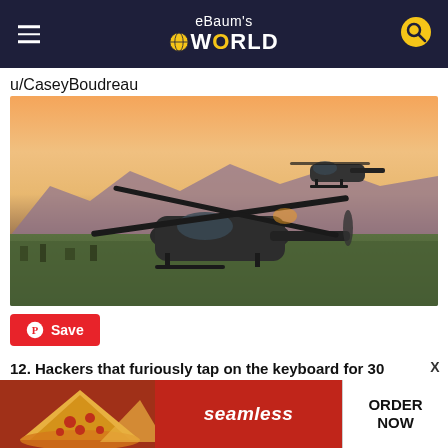eBaum's World
u/CaseyBoudreau
[Figure (photo): Two military Black Hawk helicopters flying in formation over an urban landscape at sunset/dusk, with mountains in the background and orange-pink sky.]
Save
12. Hackers that furiously tap on the keyboard for 30
[Figure (other): Seamless food ordering advertisement banner with pizza image on left, 'seamless' text in center on red background, and 'ORDER NOW' button on right]